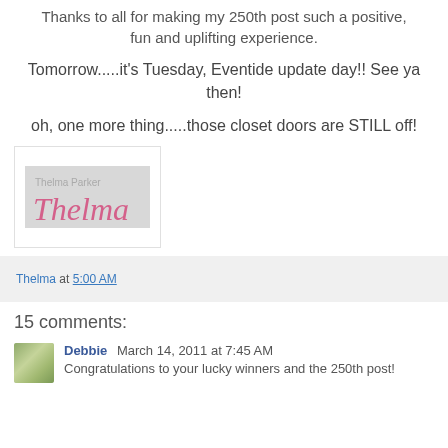Thanks to all for making my 250th post such a positive, fun and uplifting experience.
Tomorrow.....it's Tuesday, Eventide update day!! See ya then!
oh, one more thing.....those closet doors are STILL off!
[Figure (illustration): Signature image reading 'Thelma' in pink cursive handwriting on a gray background, inside a white bordered box.]
Thelma at 5:00 AM
15 comments:
Debbie March 14, 2011 at 7:45 AM
Congratulations to your lucky winners and the 250th post!